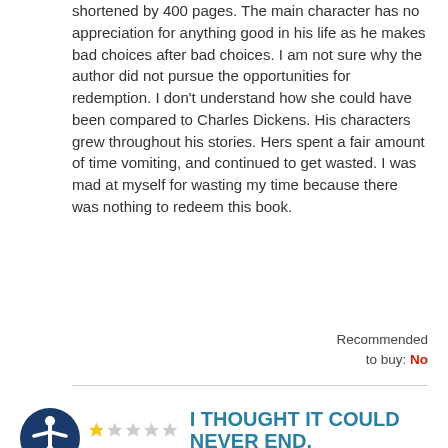shortened by 400 pages. The main character has no appreciation for anything good in his life as he makes bad choices after bad choices. I am not sure why the author did not pursue the opportunities for redemption. I don't understand how she could have been compared to Charles Dickens. His characters grew throughout his stories. Hers spent a fair amount of time vomiting, and continued to get wasted. I was mad at myself for wasting my time because there was nothing to redeem this book.
Recommended to buy: No
I THOUGHT IT COULD NEVER END.
Derived From Web  Jun 23, 2018